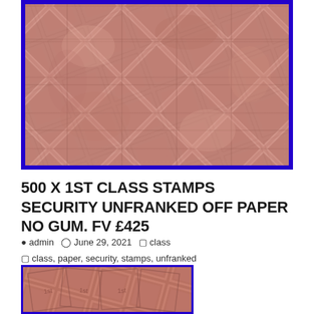[Figure (photo): Close-up photograph of multiple used UK 1st class stamps arranged in a grid pattern, showing reddish-brown stamps with a blue border frame around the image.]
500 X 1ST CLASS STAMPS SECURITY UNFRANKED OFF PAPER NO GUM. FV £425
admin  June 29, 2021  class
class, paper, security, stamps, unfranked
[Figure (photo): Close-up photograph of multiple used UK 1st class stamps overlapping each other, showing reddish-brown stamps with a blue border frame.]